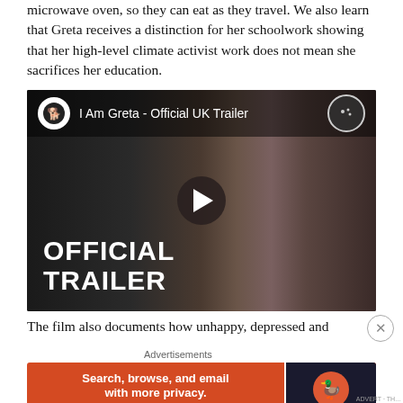microwave oven, so they can eat as they travel. We also learn that Greta receives a distinction for her schoolwork showing that her high-level climate activist work does not mean she sacrifices her education.
[Figure (screenshot): YouTube video thumbnail for 'I Am Greta - Official UK Trailer' showing a young woman with hands clasped under her chin against a dark background, with 'OFFICIAL TRAILER' text overlay and a play button in the center.]
The film also documents how unhappy, depressed and
Advertisements
[Figure (screenshot): DuckDuckGo advertisement banner in orange/red with text 'Search, browse, and email with more privacy. All in One Free App' and the DuckDuckGo logo on the right side.]